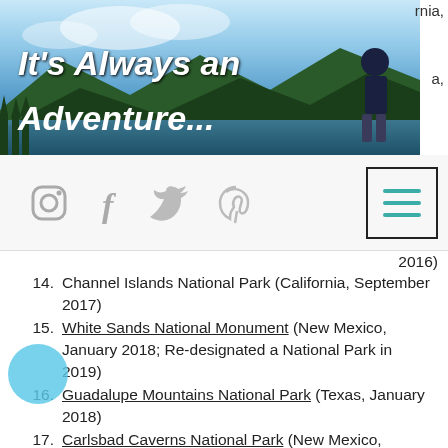[Figure (photo): Blog header image showing mountain lake landscape with text 'It's Always an Adventure...' overlaid in white italic font. A person is partially visible on the right side.]
[Figure (screenshot): Website navigation bar with social media icons (Instagram, Facebook, Twitter, Pinterest) and a hamburger menu button with teal lines inside a square border.]
14. Channel Islands National Park (California, September 2017)
15. White Sands National Monument (New Mexico, January 2018; Re-designated a National Park in 2019)
16. Guadalupe Mountains National Park (Texas, January 2018)
17. Carlsbad Caverns National Park (New Mexico, January 2018)
18. Big Bend National Park (Texas, January 2018)
19. Olympic National Park (Washin...